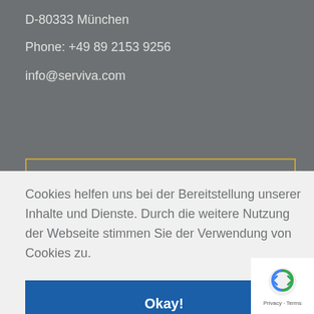D-80333 München
Phone: +49 89 2153 9256
info@serviva.com
Cookies helfen uns bei der Bereitstellung unserer Inhalte und Dienste. Durch die weitere Nutzung der Webseite stimmen Sie der Verwendung von Cookies zu.
Okay!